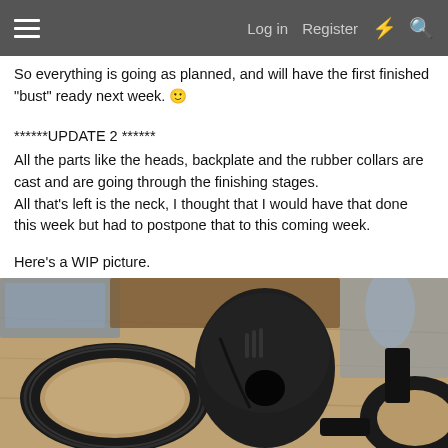Log in  Register
So everything is going as planned, and will have the first finished “bust” ready next week. 🙂
******UPDATE 2 ******
All the parts like the heads, backplate and the rubber collars are cast and are going through the finishing stages.
All that’s left is the neck, I thought that I would have that done this week but had to postpone that to this coming week.
Here’s a WIP picture.
[Figure (photo): WIP photo showing dark black cast rubber/resin parts including circular collar rings, a helmet-like head piece, and other components laid out on a wooden surface with workshop items in background]